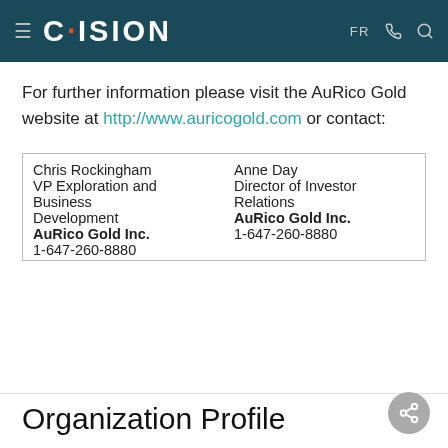CISION — FR
For further information please visit the AuRico Gold website at http://www.auricogold.com or contact:
| Chris Rockingham
VP Exploration and Business Development
AuRico Gold Inc.
1-647-260-8880 | Anne Day
Director of Investor Relations
AuRico Gold Inc.
1-647-260-8880 |
Organization Profile